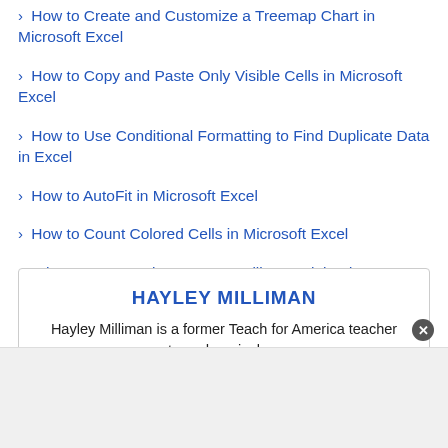› How to Create and Customize a Treemap Chart in Microsoft Excel
› How to Copy and Paste Only Visible Cells in Microsoft Excel
› How to Use Conditional Formatting to Find Duplicate Data in Excel
› How to AutoFit in Microsoft Excel
› How to Count Colored Cells in Microsoft Excel
› What Is VoIP? Voice Over IP Calling Explained
HAYLEY MILLIMAN
Hayley Milliman is a former Teach for America teacher turned curriculum